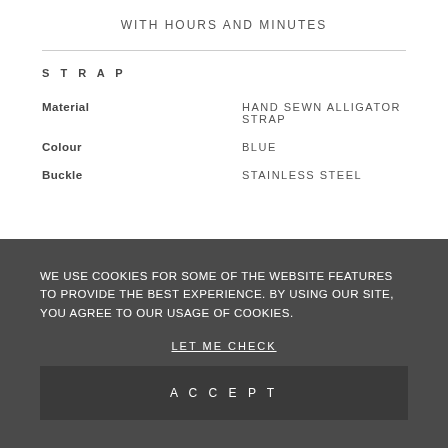WITH HOURS AND MINUTES
STRAP
| Material | HAND SEWN ALLIGATOR STRAP |
| Colour | BLUE |
| Buckle | STAINLESS STEEL |
WE USE COOKIES FOR SOME OF THE WEBSITE FEATURES TO PROVIDE THE BEST EXPERIENCE. BY USING OUR SITE, YOU AGREE TO OUR USAGE OF COOKIES.
LET ME CHECK
ACCEPT